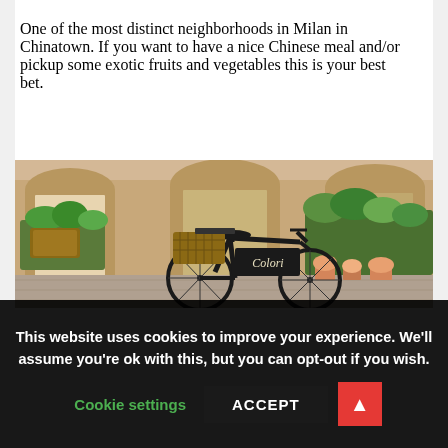One of the most distinct neighborhoods in Milan in Chinatown. If you want to have a nice Chinese meal and/or pickup some exotic fruits and vegetables this is your best bet.
[Figure (photo): A black bicycle with a wicker basket and a chalkboard sign reading 'Colori' parked in front of a flower shop with arched stone arcades, potted flowers and plants outside.]
This website uses cookies to improve your experience. We'll assume you're ok with this, but you can opt-out if you wish. Cookie settings ACCEPT